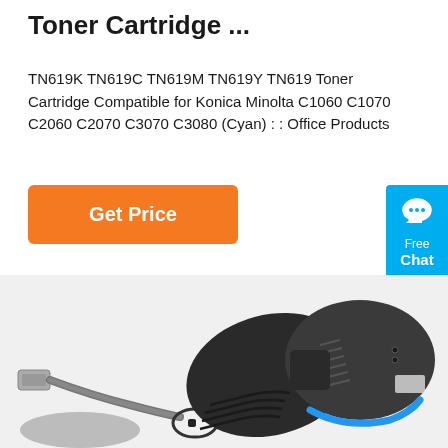Toner Cartridge ...
TN619K TN619C TN619M TN619Y TN619 Toner Cartridge Compatible for Konica Minolta C1060 C1070 C2060 C2070 C3070 C3080 (Cyan) : : Office Products
[Figure (screenshot): Orange 'Get Price' button]
[Figure (screenshot): Blue 'Free Chat' widget button on the right side]
[Figure (photo): Photo of a black USB barcode scanner with a blue accent stripe and USB cable]